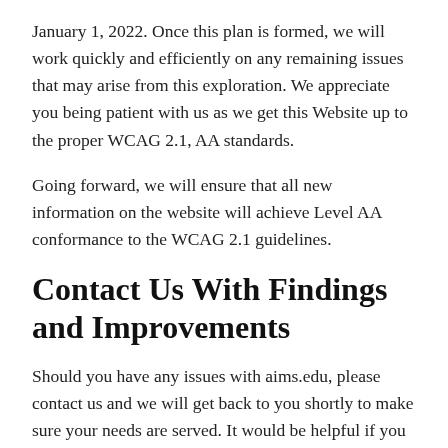January 1, 2022. Once this plan is formed, we will work quickly and efficiently on any remaining issues that may arise from this exploration. We appreciate you being patient with us as we get this Website up to the proper WCAG 2.1, AA standards.
Going forward, we will ensure that all new information on the website will achieve Level AA conformance to the WCAG 2.1 guidelines.
Contact Us With Findings and Improvements
Should you have any issues with aims.edu, please contact us and we will get back to you shortly to make sure your needs are served. It would be helpful if you can be as specific as possible when describing